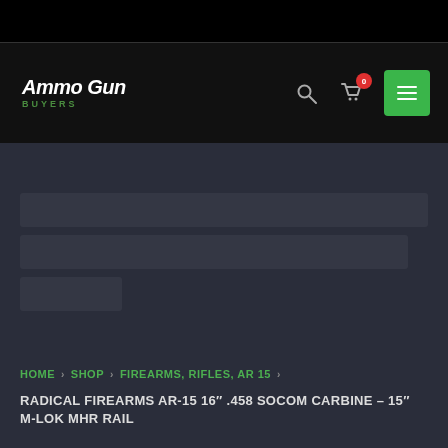Ammo Gun Buyers — navigation header
HOME > SHOP > FIREARMS, RIFLES, AR 15 >
RADICAL FIREARMS AR-15 16″ .458 SOCOM CARBINE – 15″ M-LOK MHR RAIL